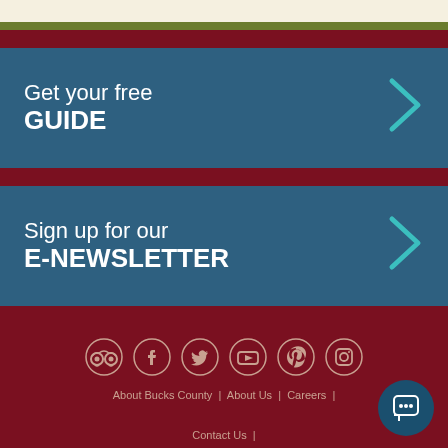Get your free GUIDE
Sign up for our E-NEWSLETTER
[Figure (infographic): Social media icons row: TripAdvisor, Facebook, Twitter, YouTube, Pinterest, Instagram]
About Bucks County | About Us | Careers | Contact Us | Privacy Policy & Photo/Video Credits | Sitemap